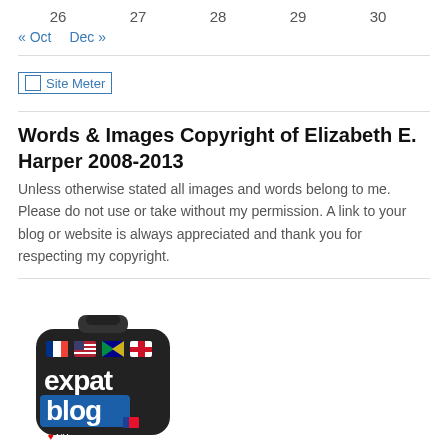26   27   28   29   30
« Oct   Dec »
[Figure (other): Site Meter image/badge placeholder]
Words & Images Copyright of Elizabeth E. Harper 2008-2013
Unless otherwise stated all images and words belong to me. Please do not use or take without my permission. A link to your blog or website is always appreciated and thank you for respecting my copyright.
[Figure (logo): Expat Blog logo — a suitcase with colorful country flag stickers and the text 'expat blog']